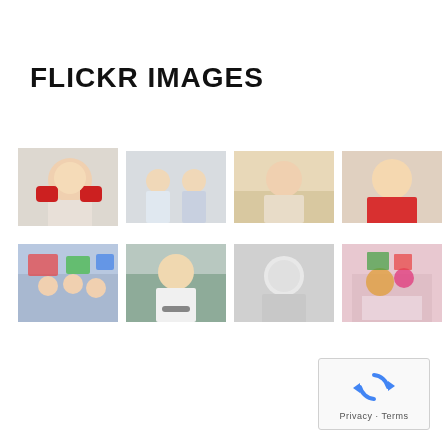FLICKR IMAGES
[Figure (photo): Grid of Flickr photo thumbnails showing children and people. Row 1: boy with red mittens, two children sitting, girl drawing, girl in red shirt, group of children at table, child eating watermelon. Row 2: children playing with toys, boy with glasses, black and white portrait, colorful art/crafts, woman portrait, broken image placeholder labeled 'Main boxed'.]
[Figure (other): Google reCAPTCHA widget with spinning arrows icon and Privacy/Terms links at bottom right of page.]